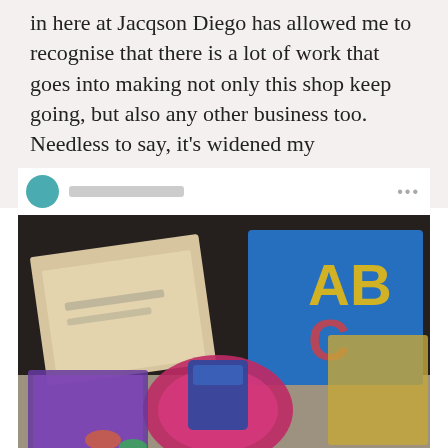in here at Jacqson Diego has allowed me to recognise that there is a lot of work that goes into making not only this shop keep going, but also any other business too. Needless to say, it's widened my perspective by quite a bit.
[Figure (photo): An Instagram post showing a social media profile header with a teal circular avatar and blurred username, followed by a photo of various colorful children's books, cards, and merchandise items arranged on a table, including what appears to be ABC books and other colorful publications.]